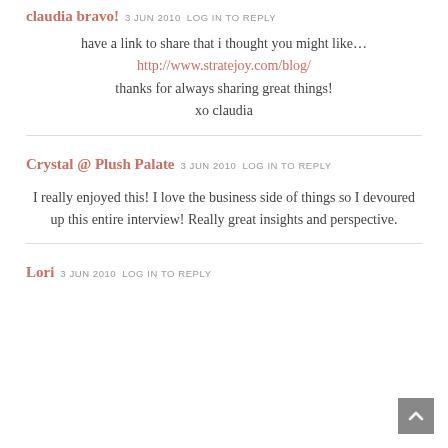claudia bravo! 3 JUN 2010 LOG IN TO REPLY
have a link to share that i thought you might like…
http://www.stratejoy.com/blog/
thanks for always sharing great things!
xo claudia
Crystal @ Plush Palate 3 JUN 2010 LOG IN TO REPLY
I really enjoyed this! I love the business side of things so I devoured up this entire interview! Really great insights and perspective.
Lori 3 JUN 2010 LOG IN TO REPLY